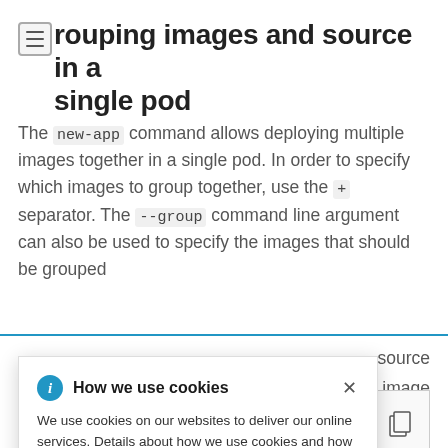Grouping images and source in a single pod
The new-app command allows deploying multiple images together in a single pod. In order to specify which images to group together, use the + separator. The --group command line argument can also be used to specify the images that should be grouped
[Figure (screenshot): Cookie consent popup dialog with blue info icon, title 'How we use cookies', close X button, and body text about cookie usage with Privacy Statement link]
To deploy an image built from source and an external